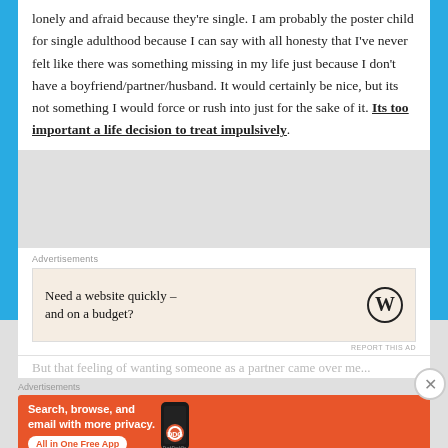lonely and afraid because they're single. I am probably the poster child for single adulthood because I can say with all honesty that I've never felt like there was something missing in my life just because I don't have a boyfriend/partner/husband. It would certainly be nice, but its not something I would force or rush into just for the sake of it. Its too important a life decision to treat impulsively.
Advertisements
[Figure (screenshot): Advertisement for WordPress: 'Need a website quickly – and on a budget?' with WordPress logo on beige background. REPORT THIS AD text below.]
But that feeling of wanting someone as a partner came over me...
Advertisements
[Figure (screenshot): DuckDuckGo advertisement on orange background: 'Search, browse, and email with more privacy. All in One Free App' with phone showing DuckDuckGo app.]